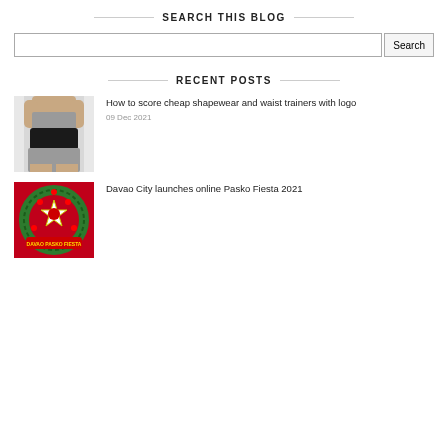SEARCH THIS BLOG
[Figure (other): Search input box with Search button]
RECENT POSTS
[Figure (photo): Woman wearing black waist trainer shapewear with grey sports bra and grey shorts]
How to score cheap shapewear and waist trainers with logo
09 Dec 2021
[Figure (photo): Davao Pasko Fiesta 2021 logo with Christmas wreath on red background]
Davao City launches online Pasko Fiesta 2021